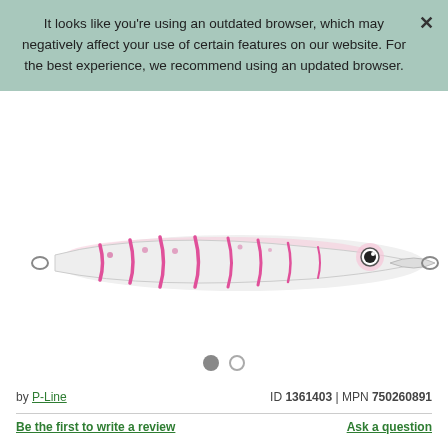It looks like you're using an outdated browser, which may negatively affect your use of certain features on our website. For the best experience, we recommend using an updated browser.
[Figure (photo): A pink and white fishing lure (artificial bait) with pink markings, an eye detail, and metal hooks at each end, shown on a white background.]
by P-Line   ID 1361403 | MPN 750260891
Be the first to write a review   Ask a question